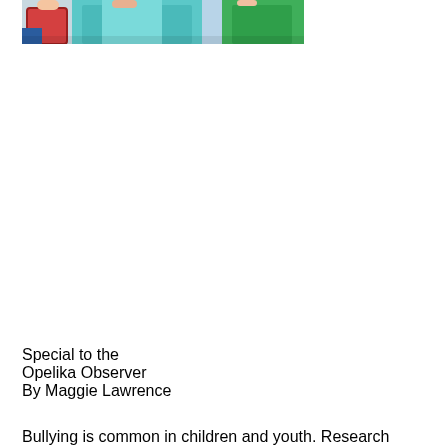[Figure (photo): Partial photo of children/youth group, cropped at top of page, showing colorful clothing including teal, red plaid, and green]
Special to the
Opelika Observer
By Maggie Lawrence
Bullying is common in children and youth. Research shows